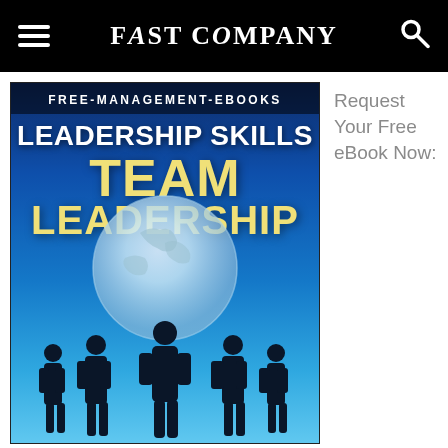FAST COMPANY
[Figure (illustration): Book cover for 'Leadership Skills: Team Leadership' from Free-Management-eBooks, featuring bold white and gold text on a dark blue background with a globe graphic and silhouettes of five business professionals standing in front of it.]
Request Your Free eBook Now: